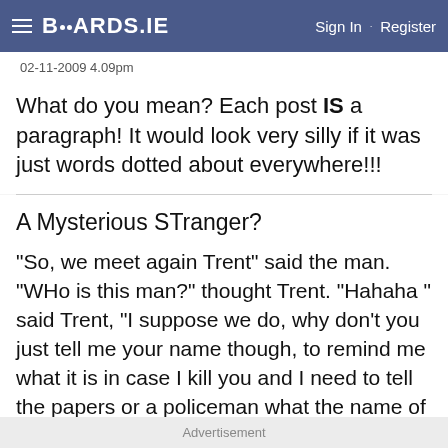BOARDS.IE  Sign In · Register
02-11-2009 4.09pm
What do you mean? Each post IS a paragraph! It would look very silly if it was just words dotted about everywhere!!!
A Mysterious STranger?
"So, we meet again Trent" said the man. "WHo is this man?" thought Trent. "Hahaha " said Trent, "I suppose we do, why don't you just tell me your name though, to remind me what it is in case I kill you and I need to tell the papers or a policeman what the name of the man I killed was." The man didn't fall for the trick though. "What's the matter Trent don't you recognise me?" Trent looked at the man, expcept he couldn;t because
Advertisement